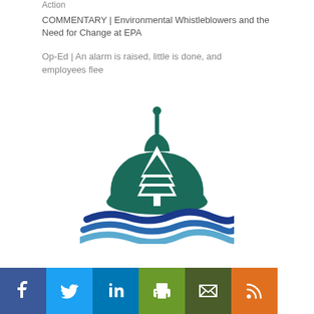Action
COMMENTARY | Environmental Whistleblowers and the Need for Change at EPA
Op-Ed | An alarm is raised, little is done, and employees flee
[Figure (logo): Environmental organization logo: green Capitol Building dome with white pine tree silhouette in front, and blue/teal wave shapes beneath representing water.]
[Figure (infographic): Social media sharing buttons row: Facebook (blue), Twitter (light blue), LinkedIn (dark blue), Print (green), Email (dark green/olive), RSS (orange)]